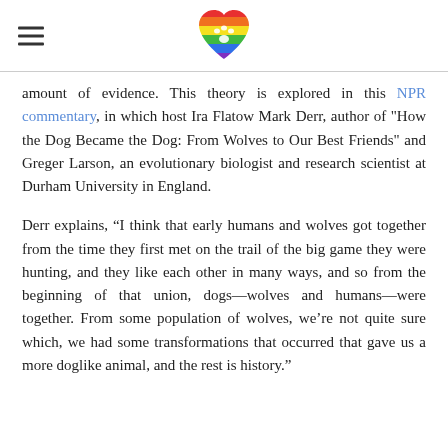[hamburger menu icon] [rainbow heart with paw print logo]
amount of evidence. This theory is explored in this NPR commentary, in which host Ira Flatow Mark Derr, author of "How the Dog Became the Dog: From Wolves to Our Best Friends" and Greger Larson, an evolutionary biologist and research scientist at Durham University in England.
Derr explains, “I think that early humans and wolves got together from the time they first met on the trail of the big game they were hunting, and they like each other in many ways, and so from the beginning of that union, dogs—wolves and humans—were together. From some population of wolves, we’re not quite sure which, we had some transformations that occurred that gave us a more doglike animal, and the rest is history.”